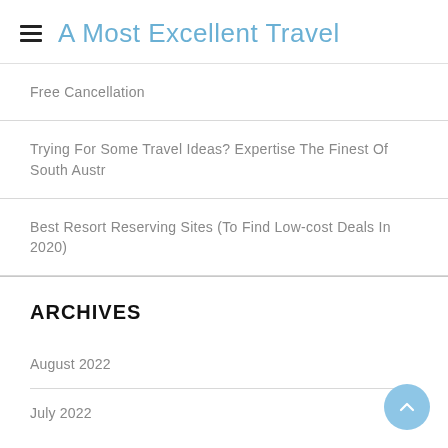A Most Excellent Travel
Free Cancellation
Trying For Some Travel Ideas? Expertise The Finest Of South Austr
Best Resort Reserving Sites (To Find Low-cost Deals In 2020)
ARCHIVES
August 2022
July 2022